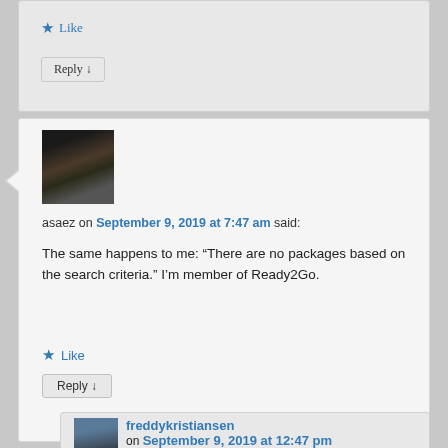Like
Reply ↓
asaez on September 9, 2019 at 7:47 am said:
The same happens to me: “There are no packages based on the search criteria.” I’m member of Ready2Go.
Like
Reply ↓
freddykristiansen on September 9, 2019 at 12:47 pm said: